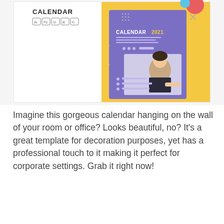[Figure (illustration): A calendar template product preview showing a 2021 calendar design with purple background, yellow geometric shapes, and a photo of a girl writing. The left side shows 'CALENDAR' text with software compatibility icons (Ai, Ps, Id, and others). The right side shows the calendar cover with 'CALENDAR 2021' text in white and gold.]
Imagine this gorgeous calendar hanging on the wall of your room or office? Looks beautiful, no? It's a great template for decoration purposes, yet has a professional touch to it making it perfect for corporate settings. Grab it right now!